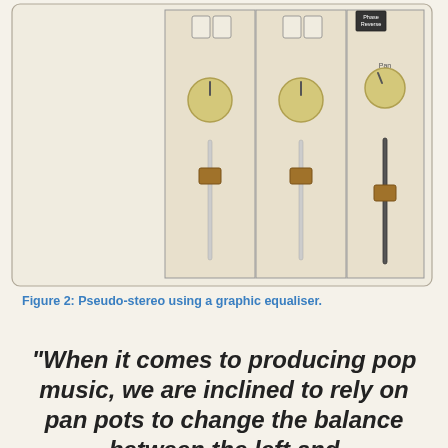[Figure (engineering-diagram): Diagram of three audio mixer channel strips showing knobs (pots), faders, and a Phase Reverse button and Pan label on the right channel. The fader of the rightmost channel is set lower than the other two.]
Figure 2: Pseudo-stereo using a graphic equaliser.
"When it comes to producing pop music, we are inclined to rely on pan pots to change the balance between the left and